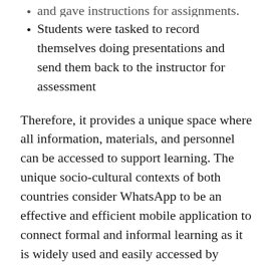and gave instructions for assignments.
Students were tasked to record themselves doing presentations and send them back to the instructor for assessment
Therefore, it provides a unique space where all information, materials, and personnel can be accessed to support learning. The unique socio-cultural contexts of both countries consider WhatsApp to be an effective and efficient mobile application to connect formal and informal learning as it is widely used and easily accessed by everyone irrespective of the social strata or internet access. The majority of subjects reported that WhatsApp has been a good tool to support learning. Therefore, WhatsApp provides equitable educational opportunities for Indian